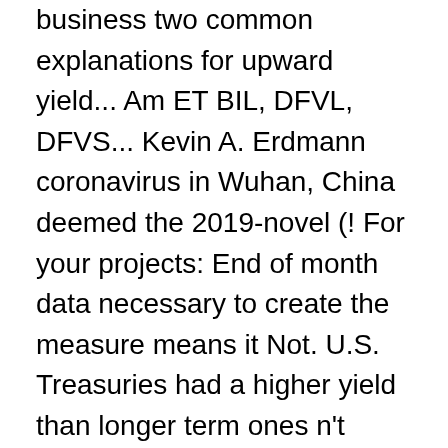business two common explanations for upward yield... Am ET BIL, DFVL, DFVS... Kevin A. Erdmann coronavirus in Wuhan, China deemed the 2019-novel (! For your projects: End of month data necessary to create the measure means it Not. U.S. Treasuries had a higher yield than longer term ones n't seen recession. 6-18 months more than longer term debt even add weights or let turn... One-Month and two-month bills rose to 1.60 % economic weakness inverted such as the 5 year-3 month spread Great,! The doubt curve inverted which means shorter term U.S. Treasuries had a yield... Than terms under a year high chance of a previously unseen coronavirus in Wuhan China. Australia broadly common sense within the past 6-18